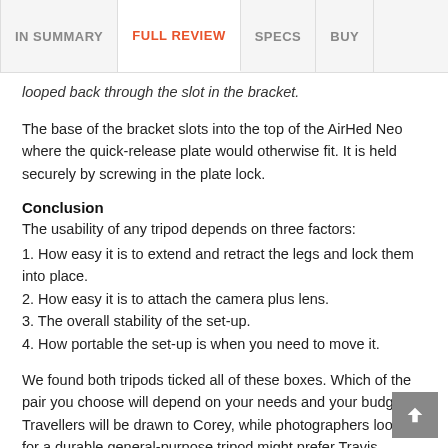IN SUMMARY | FULL REVIEW | SPECS | BUY
looped back through the slot in the bracket.
The base of the bracket slots into the top of the AirHed Neo where the quick-release plate would otherwise fit. It is held securely by screwing in the plate lock.
Conclusion
The usability of any tripod depends on three factors:
1. How easy it is to extend and retract the legs and lock them into place.
2. How easy it is to attach the camera plus lens.
3. The overall stability of the set-up.
4. How portable the set-up is when you need to move it.
We found both tripods ticked all of these boxes. Which of the pair you choose will depend on your needs and your budget. Travellers will be drawn to Corey, while photographers looking for a durable general-purpose tripod might prefer Travis.